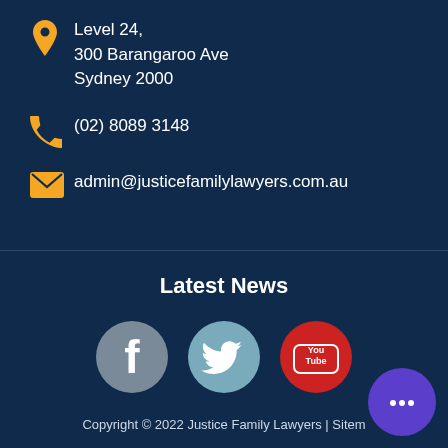Level 24, 300 Barangaroo Ave Sydney 2000
(02) 8089 3148
admin@justicefamilylawyers.com.au
Latest News
[Figure (illustration): Social media icons: Facebook, Twitter, YouTube]
Copyright © 2022 Justice Family Lawyers | Sitem...